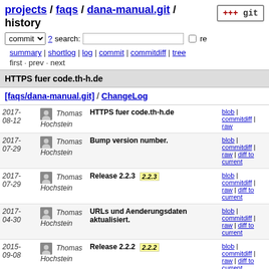projects / faqs / dana-manual.git / history
summary | shortlog | log | commit | commitdiff | tree
first · prev · next
HTTPS fuer code.th-h.de
[faqs/dana-manual.git] / ChangeLog
| Date | Author | Message | Links |
| --- | --- | --- | --- |
| 2017-08-12 | Thomas Hochstein | HTTPS fuer code.th-h.de | blob | commitdiff | raw |
| 2017-07-29 | Thomas Hochstein | Bump version number. | blob | commitdiff | raw | diff to current |
| 2017-07-29 | Thomas Hochstein | Release 2.2.3 [2.2.3] | blob | commitdiff | raw | diff to current |
| 2017-04-30 | Thomas Hochstein | URLs und Aenderungsdaten aktualisiert. | blob | commitdiff | raw | diff to current |
| 2015-09-08 | Thomas Hochstein | Release 2.2.2 [2.2.2] | blob | commitdiff | raw | diff to current |
| 2015-08-16 | Thomas Hochstein | Dauer des Abstimmungszeitraums (1 Monat) angepasst. | blob | commitdiff | raw | diff to current |